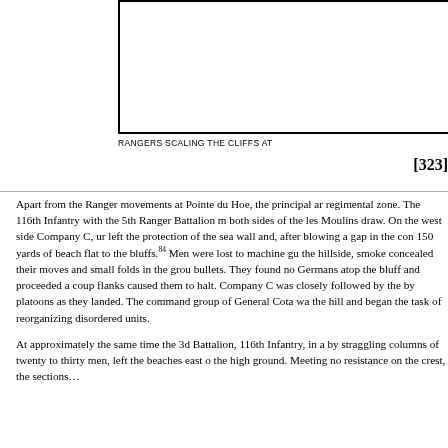[Figure (photo): Photograph (partially visible, cropped) showing Rangers scaling cliffs, upper portion of the page]
RANGERS SCALING THE CLIFFS AT
[323]
Apart from the Ranger movements at Pointe du Hoe, the principal ar regimental zone. The 116th Infantry with the 5th Ranger Battalion m both sides of the les Moulins draw. On the west side Company C, ur left the protection of the sea wall and, after blowing a gap in the con 150 yards of beach flat to the bluffs.84 Men were lost to machine gu the hillside, smoke concealed their moves and small folds in the grou bullets. They found no Germans atop the bluff and proceeded a cou flanks caused them to halt. Company C was closely followed by the by platoons as they landed. The command group of General Cota wa the hill and began the task of reorganizing disordered units.
At approximately the same time the 3d Battalion, 116th Infantry, in a by straggling columns of twenty to thirty men, left the beaches east o the high ground. Meeting no resistance on the crest, the sections…